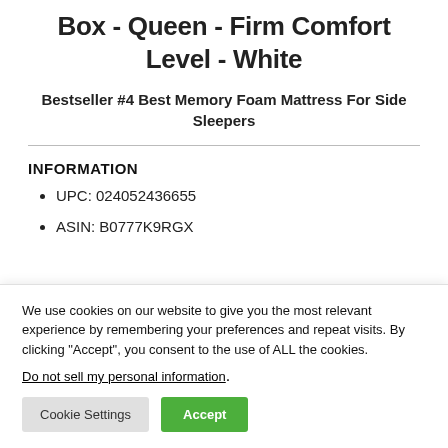Box - Queen - Firm Comfort Level - White
Bestseller #4 Best Memory Foam Mattress For Side Sleepers
INFORMATION
UPC: 024052436655
ASIN: B0777K9RGX
We use cookies on our website to give you the most relevant experience by remembering your preferences and repeat visits. By clicking “Accept”, you consent to the use of ALL the cookies.
Do not sell my personal information.
Cookie Settings
Accept